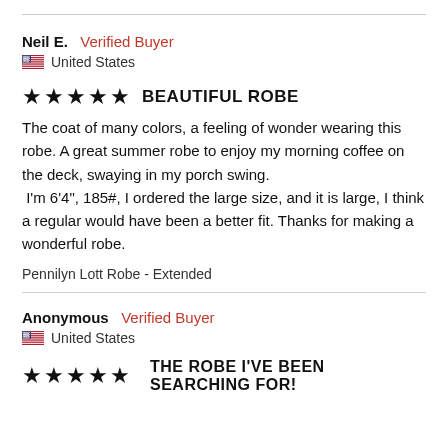Neil E.  Verified Buyer
United States
★★★★★  BEAUTIFUL ROBE
The coat of many colors, a feeling of wonder wearing this robe. A great summer robe to enjoy my morning coffee on the deck, swaying in my porch swing.
 I'm 6'4", 185#, I ordered the large size, and it is large, I think a regular would have been a better fit. Thanks for making a wonderful robe.
Pennilyn Lott Robe - Extended
Anonymous  Verified Buyer
United States
★★★★★  THE ROBE I'VE BEEN SEARCHING FOR!